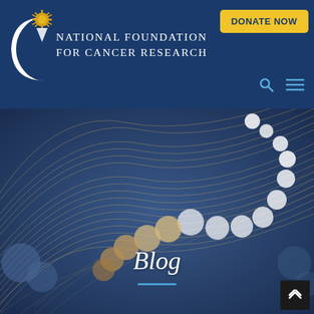[Figure (logo): National Foundation for Cancer Research logo — white crescent/C shape with a yellow starburst/pencil tip, on dark blue background]
National Foundation for Cancer Research
DONATE NOW
[Figure (illustration): Abstract scientific illustration with curving gold/tan lines forming a DNA helix or wave pattern, with glowing white and gold bokeh circles arranged in an arc, on a dark blue-grey background]
Blog